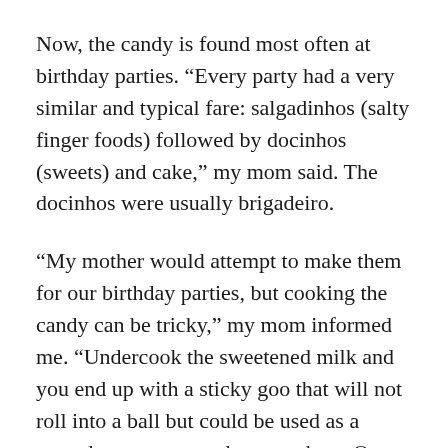Now, the candy is found most often at birthday parties. “Every party had a very similar and typical fare: salgadinhos (salty finger foods) followed by docinhos (sweets) and cake,” my mom said. The docinhos were usually brigadeiro.
“My mother would attempt to make them for our birthday parties, but cooking the candy can be tricky,” my mom informed me. “Undercook the sweetened milk and you end up with a sticky goo that will not roll into a ball but could be used as a spread on toast or graham crackers. Over cook it and you end up with hard marbles no one wants to eat!”